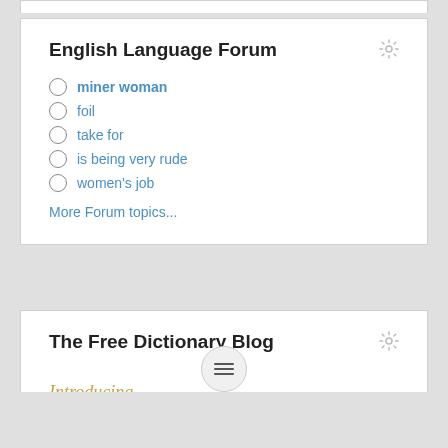English Language Forum
miner woman
foil
take for
is being very rude
women's job
More Forum topics...
The Free Dictionary Blog
Introducing...
[Figure (other): WORDLE logo displayed as large bold green letters in a grid of cells with light borders]